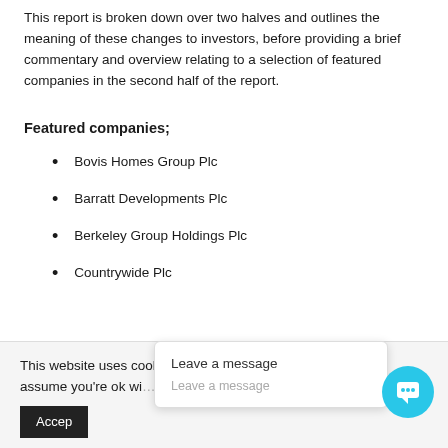This report is broken down over two halves and outlines the meaning of these changes to investors, before providing a brief commentary and overview relating to a selection of featured companies in the second half of the report.
Featured companies;
Bovis Homes Group Plc
Barratt Developments Plc
Berkeley Group Holdings Plc
Countrywide Plc
This website uses cookies to improve your experience. We'll assume you're ok with, you
Accept
Leave a message
Leave a message